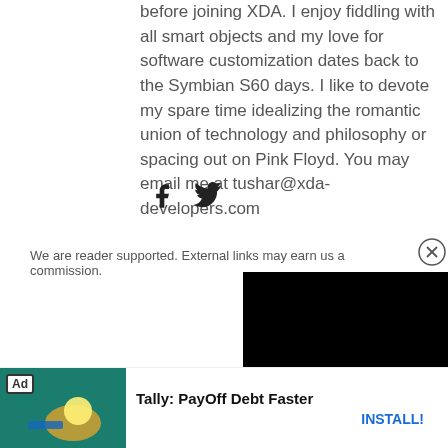before joining XDA. I enjoy fiddling with all smart objects and my love for software customization dates back to the Symbian S60 days. I like to devote my spare time idealizing the romantic union of technology and philosophy or spacing out on Pink Floyd. You may email me at tushar@xda-developers.com
[Figure (other): Facebook and Twitter social media icons]
We are reader supported. External links may earn us a commission.
[Figure (other): Close button circle with X]
[Figure (other): Black video player rectangle]
[Figure (other): Advertisement banner: Ad badge with Tally: PayOff Debt Faster and INSTALL! link]